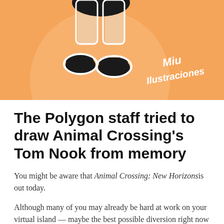[Figure (illustration): Orange illustrated banner showing the feet and lower body of a cartoon character (Tom Nook) with black shoes on an orange background with a lighter orange circle. Text reads 'Miu Ilustraciones' in white italic font in the bottom right.]
The Polygon staff tried to draw Animal Crossing's Tom Nook from memory
You might be aware that Animal Crossing: New Horizons is out today.
Although many of you may already be hard at work on your virtual island — maybe the best possible diversion right now — the Polygon staff is thinking very hard about Tom Nook. While his legacy may be complex, he's currently ushering all